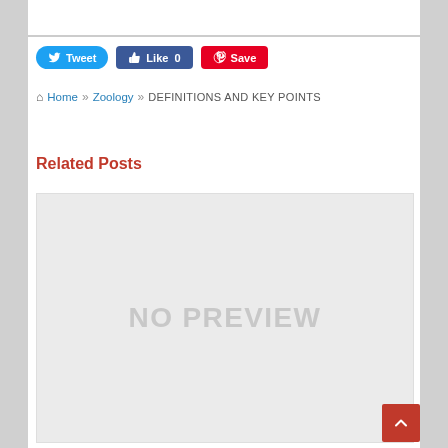[Figure (screenshot): Social share buttons: Tweet (blue, Twitter bird icon), Like 0 (dark blue, thumbs up icon), Save (red, Pinterest P icon)]
Home » Zoology » DEFINITIONS AND KEY POINTS
Related Posts
[Figure (other): No preview image placeholder — grey box with text 'NO PREVIEW']